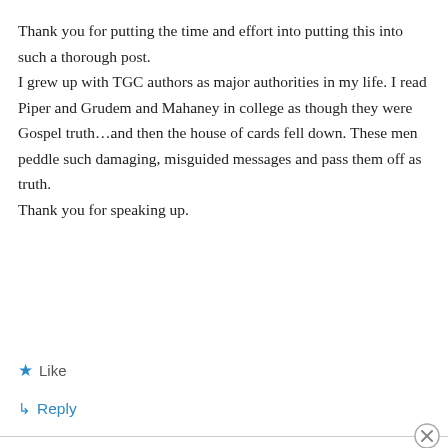Thank you for putting the time and effort into putting this into such a thorough post. I grew up with TGC authors as major authorities in my life. I read Piper and Grudem and Mahaney in college as though they were Gospel truth…and then the house of cards fell down. These men peddle such damaging, misguided messages and pass them off as truth. Thank you for speaking up.
★ Like
↳ Reply
Advertisements
AUTOMATTIC
Build a better web and a better world.